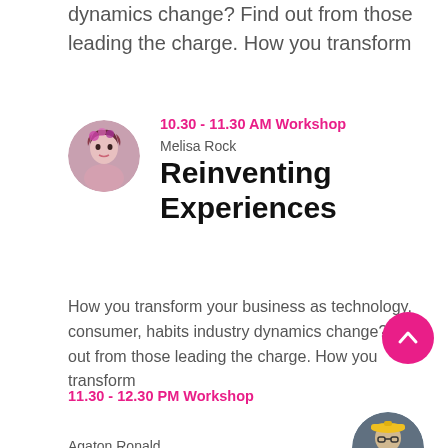dynamics change? Find out from those leading the charge. How you transform
10.30 - 11.30 AM Workshop
Melisa Rock
Reinventing Experiences
How you transform your business as technology, consumer, habits industry dynamics change? Find out from those leading the charge. How you transform
11.30 - 12.30 PM Workshop
Agaton Ronald